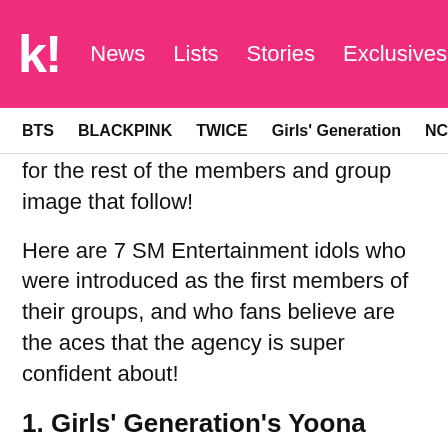k! News  Lists  Stories  Exclusives
BTS  BLACKPINK  TWICE  Girls' Generation  NCT  aespa
for the rest of the members and group image that follow!
Here are 7 SM Entertainment idols who were introduced as the first members of their groups, and who fans believe are the aces that the agency is super confident about!
1. Girls' Generation's Yoona
For years now, Girls' Generation's Yoona has been recognized as an iconic girl group center, and has continuously impressed with her stunning visuals and skills as a dancer!